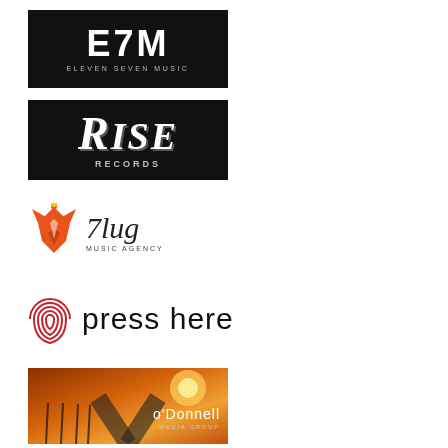[Figure (logo): E7M Eleven Seven Music logo — white text on black background]
[Figure (logo): Rise Records logo — decorative serif white text on black background]
[Figure (logo): Plug Music Agency logo — orange fox illustration with script text]
[Figure (logo): Press Here logo — red fingerprint icon with 'press here' text]
[Figure (logo): O'Donnell Media Group logo — text over warm sunset road photo]